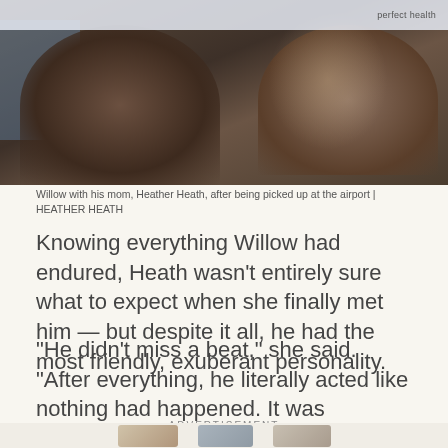[Figure (photo): Close-up photo of Willow, a curly-haired dog, with his mom Heather Heath after being picked up at the airport]
Willow with his mom, Heather Heath, after being picked up at the airport | HEATHER HEATH
Knowing everything Willow had endured, Heath wasn’t entirely sure what to expect when she finally met him — but despite it all, he had the most friendly, exuberant personality.
“He didn’t miss a beat,” she said. “After everything, he literally acted like nothing had happened. It was amazing.”
ADVERTISEMENT